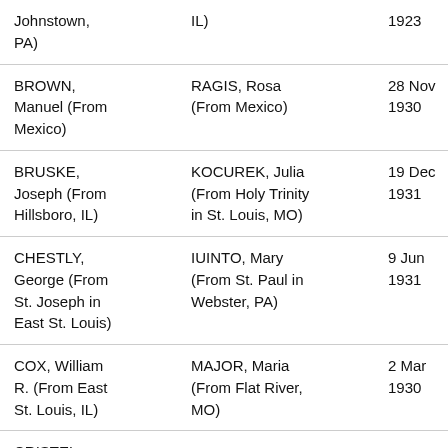| Groom | Bride | Date |
| --- | --- | --- |
| Johnstown, PA) | IL) | 1923 |
| BROWN, Manuel (From Mexico) | RAGIS, Rosa (From Mexico) | 28 Nov 1930 |
| BRUSKE, Joseph (From Hillsboro, IL) | KOCUREK, Julia (From Holy Trinity in St. Louis, MO) | 19 Dec 1931 |
| CHESTLY, George (From St. Joseph in East St. Louis) | IUINTO, Mary (From St. Paul in Webster, PA) | 9 Jun 1931 |
| COX, William R. (From East St. Louis, IL) | MAJOR, Maria (From Flat River, MO) | 2 Mar 1930 |
| CRISTEL |  |  |